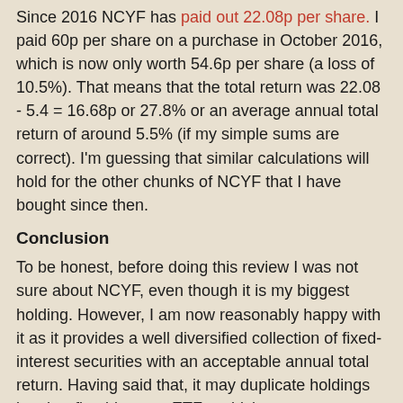Since 2016 NCYF has paid out 22.08p per share. I paid 60p per share on a purchase in October 2016, which is now only worth 54.6p per share (a loss of 10.5%). That means that the total return was 22.08 - 5.4 = 16.68p or 27.8% or an average annual total return of around 5.5% (if my simple sums are correct). I'm guessing that similar calculations will hold for the other chunks of NCYF that I have bought since then.
Conclusion
To be honest, before doing this review I was not sure about NCYF, even though it is my biggest holding. However, I am now reasonably happy with it as it provides a well diversified collection of fixed-interest securities with an acceptable annual total return. Having said that, it may duplicate holdings in other fixed-interest ETFs, which are more geographically diversified.
I shall continue to hold it as the share price seems to be recovering from the Covid drop - but I will not add to my holding.